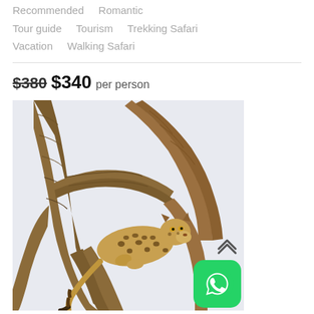Recommended   Romantic   Tour guide   Tourism   Trekking Safari   Vacation   Walking Safari
$380  $340  per person
[Figure (photo): A leopard resting in the fork of a large tree with thick bark, against a white/light grey background. The leopard has yellow eyes, spotted coat, and is looking toward the camera. Its tail hangs down at lower left.]